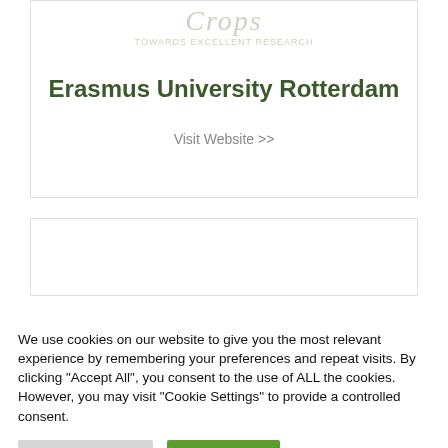[Figure (logo): Faint watermark logo of an educational institution with cursive text and tagline]
Erasmus University Rotterdam
Visit Website >>
[Figure (other): Second card placeholder, partially visible]
We use cookies on our website to give you the most relevant experience by remembering your preferences and repeat visits. By clicking "Accept All", you consent to the use of ALL the cookies. However, you may visit "Cookie Settings" to provide a controlled consent.
Cookie Settings
Accept All